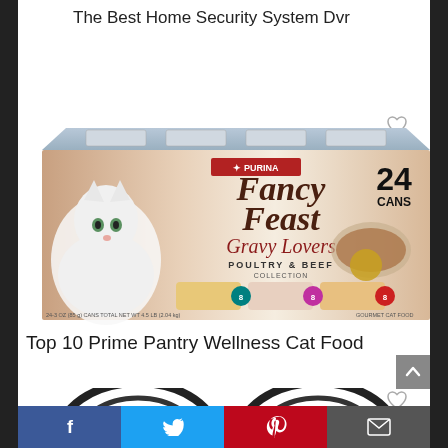The Best Home Security System Dvr
[Figure (photo): Purina Fancy Feast Gravy Lovers Poultry & Beef Collection 24 cans box with a white cat on the front]
Top 10 Prime Pantry Wellness Cat Food
[Figure (photo): Partial view of two circular cat food bowl products at the bottom of the page]
Social share bar with Facebook, Twitter, Pinterest, and Email buttons